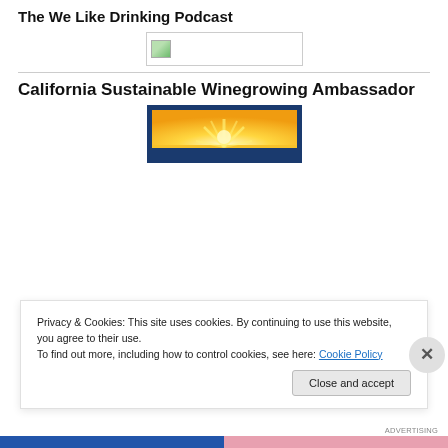The We Like Drinking Podcast
[Figure (photo): Broken image placeholder thumbnail]
California Sustainable Winegrowing Ambassador
[Figure (illustration): California Sustainable Winegrowing Ambassador badge with blue border and golden sun rays design]
Privacy & Cookies: This site uses cookies. By continuing to use this website, you agree to their use.
To find out more, including how to control cookies, see here: Cookie Policy
Close and accept